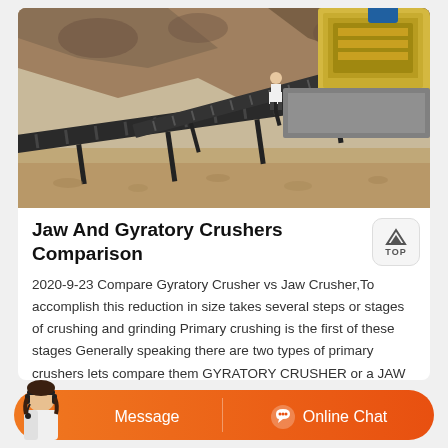[Figure (photo): Aerial/elevated view of a mining/quarry site showing conveyor belts, a jaw crusher machine (yellow), and a worker standing on the equipment. Rocky terrain and sandy ground visible.]
Jaw And Gyratory Crushers Comparison
2020-9-23 Compare Gyratory Crusher vs Jaw Crusher,To accomplish this reduction in size takes several steps or stages of crushing and grinding Primary crushing is the first of these stages Generally speaking there are two types of primary crushers lets compare them GYRATORY CRUSHER or a JAW CRUSHER…